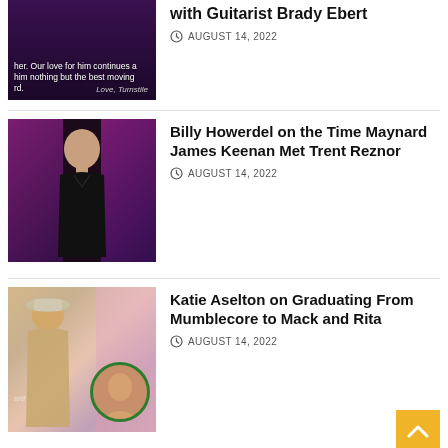[Figure (photo): Dark purple background image with white text: 'her. Our love for him continues a him nothing but the best moving rd.' and 'Love, Turnstile']
with Guitarist Brady Ebert
AUGUST 14, 2022
[Figure (photo): Composite image of Billy Howerdel (bald man in black) performing on stage, flanked by pink/purple concert lighting]
Billy Howerdel on the Time Maynard James Keenan Met Trent Reznor
AUGUST 14, 2022
[Figure (photo): Colorful party scene with older woman in hat, plus a circular inset portrait photo of a woman on a green background]
Katie Aselton on Graduating From Mumblecore to Mack and Rita
AUGUST 14, 2022
[Figure (photo): Dark image with white text: 'stile and guitarist Brady Ebert are ng ways.']
Turnstile Have Parted Methods